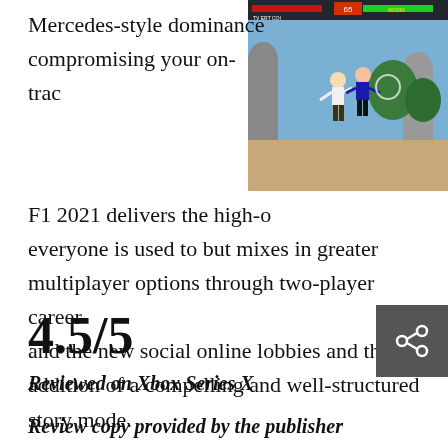Mercedes-style dominance compromising your on-trac
[Figure (screenshot): A fighting game screenshot showing two characters fighting in an outdoor level with HUD elements including health bars, score, and timer at the top.]
F1 2021 delivers the high-o everyone is used to but mixes in greater multiplayer options through two-player career and the new social online lobbies and the addition of a compelling and well-structured story mode.
4.5/5
[Figure (other): Share icon button in dark grey square]
Reviewed on Xbox Series X
Review copy provided by the publisher